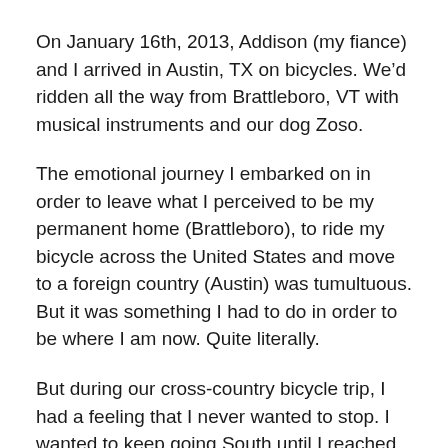On January 16th, 2013, Addison (my fiance) and I arrived in Austin, TX on bicycles. We’d ridden all the way from Brattleboro, VT with musical instruments and our dog Zoso.
The emotional journey I embarked on in order to leave what I perceived to be my permanent home (Brattleboro), to ride my bicycle across the United States and move to a foreign country (Austin) was tumultuous. But it was something I had to do in order to be where I am now. Quite literally.
But during our cross-country bicycle trip, I had a feeling that I never wanted to stop. I wanted to keep going South until I reached Brasil, the mother-land of a martial arts I’ve practiced for over ten years (capoeira). I wanted to leave North America and learn Spanish and Portuguese and meet people who thought completely differently than I do and